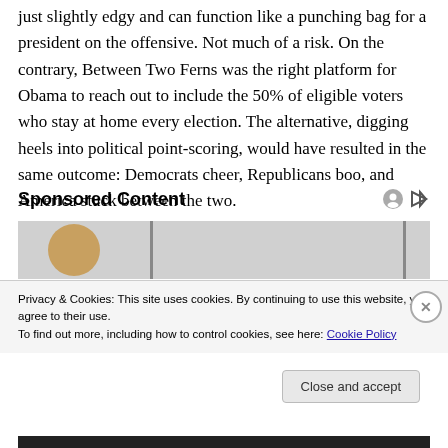just slightly edgy and can function like a punching bag for a president on the offensive. Not much of a risk. On the contrary, Between Two Ferns was the right platform for Obama to reach out to include the 50% of eligible voters who stay at home every election. The alternative, digging heels into political point-scoring, would have resulted in the same outcome: Democrats cheer, Republicans boo, and America stuck between the two.
Sponsored Content
[Figure (photo): Partially visible sponsored content image with avatar/profile photo and vertical dividers on grey background]
Privacy & Cookies: This site uses cookies. By continuing to use this website, you agree to their use.
To find out more, including how to control cookies, see here: Cookie Policy
Close and accept